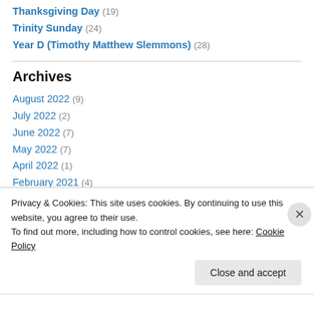Thanksgiving Day (19)
Trinity Sunday (24)
Year D (Timothy Matthew Slemmons) (28)
Archives
August 2022 (9)
July 2022 (2)
June 2022 (7)
May 2022 (7)
April 2022 (1)
February 2021 (4)
Privacy & Cookies: This site uses cookies. By continuing to use this website, you agree to their use.
To find out more, including how to control cookies, see here: Cookie Policy
Close and accept